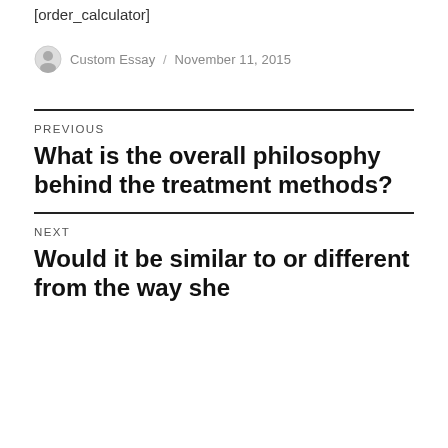[order_calculator]
Custom Essay / November 11, 2015
PREVIOUS
What is the overall philosophy behind the treatment methods?
NEXT
Would it be similar to or different from the way she